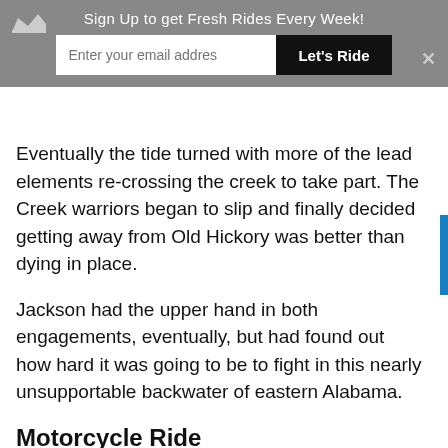Sign Up to get Fresh Rides Every Week! [email input] Let's Ride
Eventually the tide turned with more of the lead elements re-crossing the creek to take part. The Creek warriors began to slip and finally decided getting away from Old Hickory was better than dying in place.
Jackson had the upper hand in both engagements, eventually, but had found out how hard it was going to be to fight in this nearly unsupportable backwater of eastern Alabama.
Motorcycle Ride
Try this ride which encompasses both battle sites at the two creeks.
Photo Credit: By US National Park Service [Public domain], via Wikimedia Commons